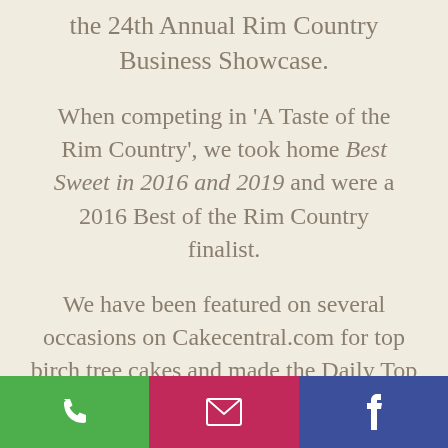the 24th Annual Rim Country Business Showcase.
When competing in 'A Taste of the Rim Country', we took home Best Sweet in 2016 and 2019 and were a 2016 Best of the Rim Country finalist.
We have been featured on several occasions on Cakecentral.com for top birch tree cakes and made the Daily Top 3 on Cakesdecor.com. We are constantly looking for ways to hone our cake artistry skills and
[Figure (other): Footer bar with three icon buttons: green phone icon, pink/magenta email envelope icon, blue Facebook icon]